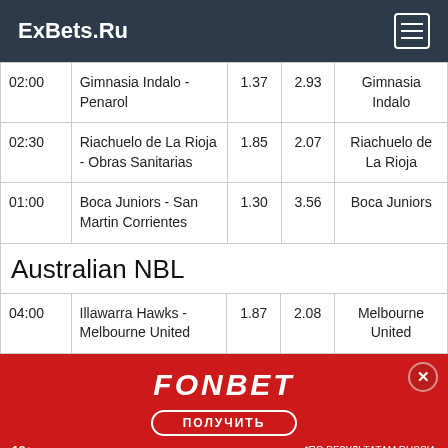ExBets.Ru
| Time | Match | W1 | W2 | Favourite |
| --- | --- | --- | --- | --- |
| 02:00 | Gimnasia Indalo - Penarol | 1.37 | 2.93 | Gimnasia Indalo |
| 02:30 | Riachuelo de La Rioja - Obras Sanitarias | 1.85 | 2.07 | Riachuelo de La Rioja |
| 01:00 | Boca Juniors - San Martin Corrientes | 1.30 | 3.56 | Boca Juniors |
Australian NBL
| Time | Match | W1 | W2 | Favourite |
| --- | --- | --- | --- | --- |
| 04:00 | Illawarra Hawks - Melbourne United | 1.87 | 2.08 | Melbourne United |
[Figure (other): FONBET advertisement banner with red background, FONBET logo in italic white text, ПОЛУЧИТЬ button outline, close button, 18+ label and *ПО РЕЗУЛЬТАТАМ RUSSIA disclaimer]